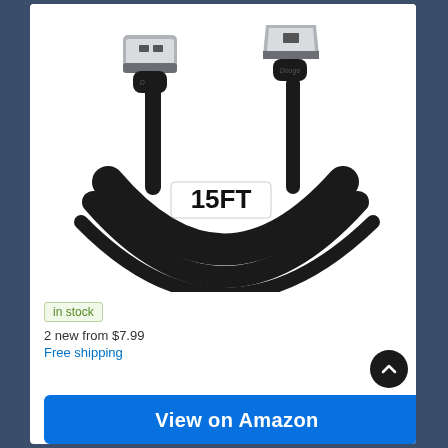[Figure (photo): Product photo of a black Doogo 15FT micro USB cable coiled up, showing USB-A connector on the left and micro USB connector on the right, with a white label reading '15FT' on the cable coil.]
in stock
2 new from $7.99
Free shipping
View on Amazon